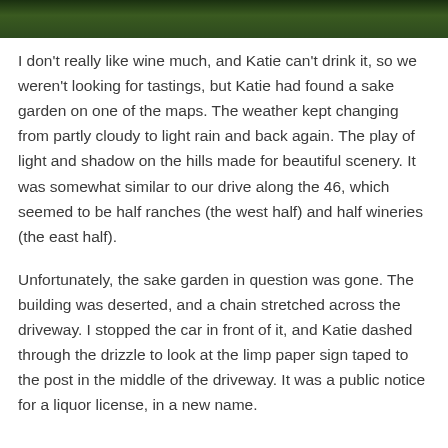[Figure (photo): Partial view of a dark green outdoor scene, likely trees or foliage, cropped at the top of the page.]
I don't really like wine much, and Katie can't drink it, so we weren't looking for tastings, but Katie had found a sake garden on one of the maps. The weather kept changing from partly cloudy to light rain and back again. The play of light and shadow on the hills made for beautiful scenery. It was somewhat similar to our drive along the 46, which seemed to be half ranches (the west half) and half wineries (the east half).
Unfortunately, the sake garden in question was gone. The building was deserted, and a chain stretched across the driveway. I stopped the car in front of it, and Katie dashed through the drizzle to look at the limp paper sign taped to the post in the middle of the driveway. It was a public notice for a liquor license, in a new name.